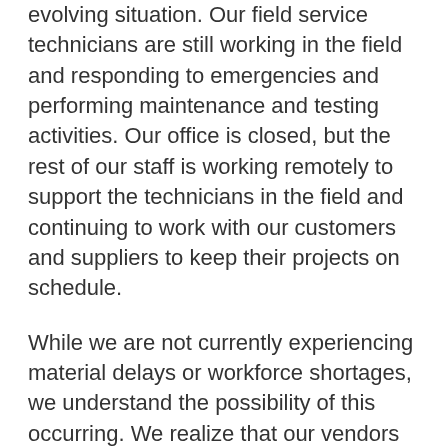evolving situation. Our field service technicians are still working in the field and responding to emergencies and performing maintenance and testing activities. Our office is closed, but the rest of our staff is working remotely to support the technicians in the field and continuing to work with our customers and suppliers to keep their projects on schedule.
While we are not currently experiencing material delays or workforce shortages, we understand the possibility of this occurring. We realize that our vendors will be equally concerned about their workforce and safety, and we will be considerate of their concerns regarding performance and expectations. We are speaking to our suppliers to keep tabs on their internal policies towards COVID-19 and anticipated material procurement dates. Should any labor shortages on critical material